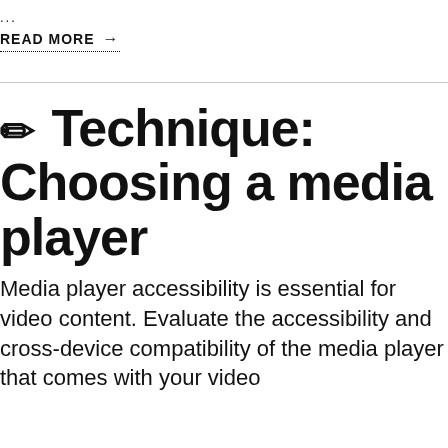...
READ MORE →
✏ Technique: Choosing a media player
Media player accessibility is essential for video content. Evaluate the accessibility and cross-device compatibility of the media player that comes with your video